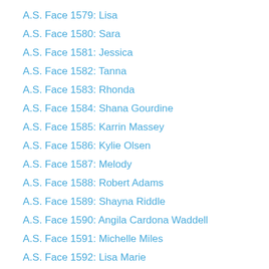A.S. Face 1579: Lisa
A.S. Face 1580: Sara
A.S. Face 1581: Jessica
A.S. Face 1582: Tanna
A.S. Face 1583: Rhonda
A.S. Face 1584: Shana Gourdine
A.S. Face 1585: Karrin Massey
A.S. Face 1586: Kylie Olsen
A.S. Face 1587: Melody
A.S. Face 1588: Robert Adams
A.S. Face 1589: Shayna Riddle
A.S. Face 1590: Angila Cardona Waddell
A.S. Face 1591: Michelle Miles
A.S. Face 1592: Lisa Marie
A.S. Face 1593: Cynthia Lowitz
A.S. Face 1594: Jennifer Yoder
A.S. Face 1595: Ashley Rose
A.S. Face 1596: Bharat
A.S. Face 1597: Abby G
A.S. Face 1598: Sarah Kannanahl